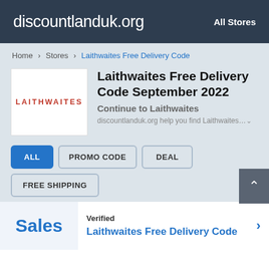discountlanduk.org | All Stores
Home > Stores > Laithwaites Free Delivery Code
[Figure (logo): Laithwaites store logo — white box with red uppercase LAITHWAITES text]
Laithwaites Free Delivery Code September 2022
Continue to Laithwaites
discountlanduk.org help you find Laithwaites…
ALL
PROMO CODE
DEAL
FREE SHIPPING
Verified
Sales
Laithwaites Free Delivery Code